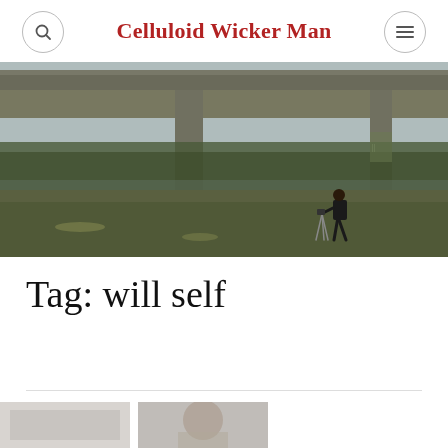Celluloid Wicker Man
[Figure (photo): A photographer with a camera on a tripod crouching in a grassy field underneath a large concrete motorway/highway overpass bridge. Trees visible in the background, overcast sky.]
Tag: will self
[Figure (photo): Bottom strip showing partial thumbnail images]